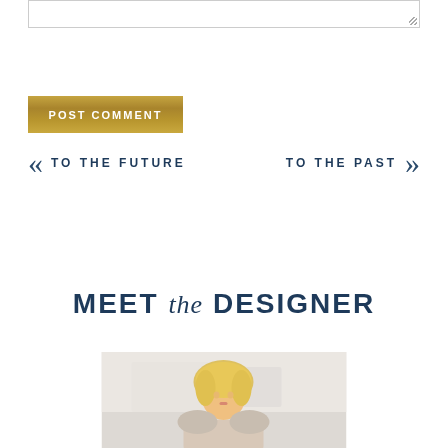[Figure (screenshot): Text area input box (comment field), partially visible at top of page]
POST COMMENT
«  TO THE FUTURE
TO THE PAST  »
MEET the DESIGNER
[Figure (photo): Photo of blonde female designer, cropped portrait in white/light interior setting]